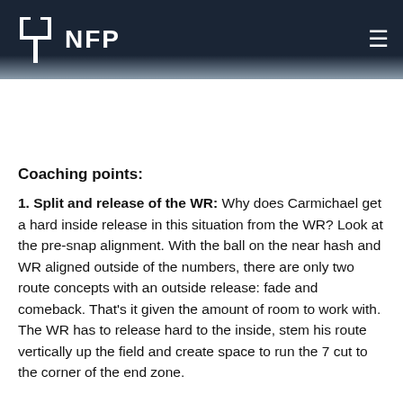NFP
Coaching points:
1. Split and release of the WR: Why does Carmichael get a hard inside release in this situation from the WR? Look at the pre-snap alignment. With the ball on the near hash and WR aligned outside of the numbers, there are only two route concepts with an outside release: fade and comeback. That's it given the amount of room to work with. The WR has to release hard to the inside, stem his route vertically up the field and create space to run the 7 cut to the corner of the end zone.